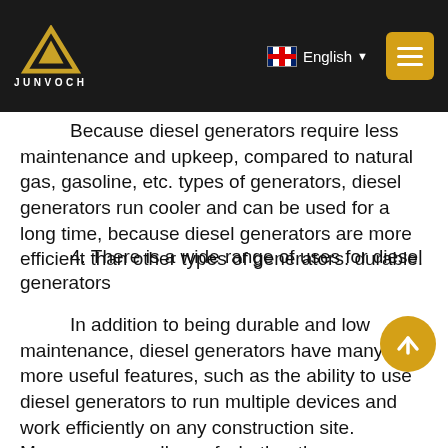JUNVOCH | English
Because diesel generators require less maintenance and upkeep, compared to natural gas, gasoline, etc. types of generators, diesel generators run cooler and can be used for a long time, because diesel generators are more efficient than other types of generators. durable.
4. There is a wide range of uses for diesel generators
In addition to being durable and low maintenance, diesel generators have many more useful features, such as the ability to use diesel generators to run multiple devices and work efficiently on any construction site. Moreover, regardless of whether the construction site is powered by the public power grid, the diesel generator can be used as a backup power source to ensure that there will be no power outage and